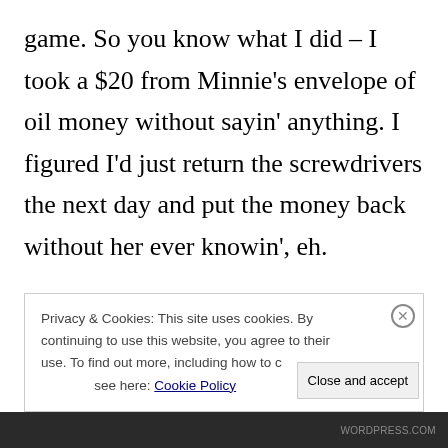game. So you know what I did – I took a $20 from Minnie's envelope of oil money without sayin' anything. I figured I'd just return the screwdrivers the next day and put the money back without her ever knowin', eh.

Anyways, the best part of the story is I got the beer, we had a great time at Tommy's place
Privacy & Cookies: This site uses cookies. By continuing to use this website, you agree to their use. To find out more, including how to control cookies, see here: Cookie Policy
WORDPRESS.COM